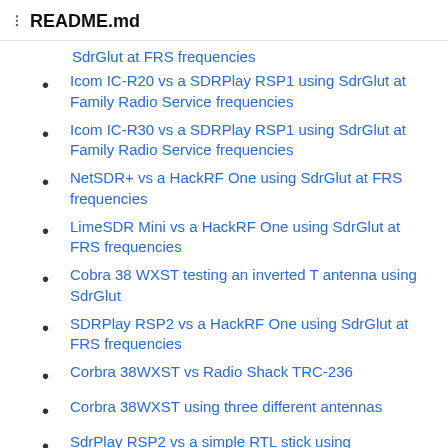README.md
SdrGlut at FRS frequencies
Icom IC-R20 vs a SDRPlay RSP1 using SdrGlut at Family Radio Service frequencies
Icom IC-R30 vs a SDRPlay RSP1 using SdrGlut at Family Radio Service frequencies
NetSDR+ vs a HackRF One using SdrGlut at FRS frequencies
LimeSDR Mini vs a HackRF One using SdrGlut at FRS frequencies
Cobra 38 WXST testing an inverted T antenna using SdrGlut
SDRPlay RSP2 vs a HackRF One using SdrGlut at FRS frequencies
Corbra 38WXST vs Radio Shack TRC-236
Corbra 38WXST using three different antennas
SdrPlay RSP2 vs a simple RTL stick using